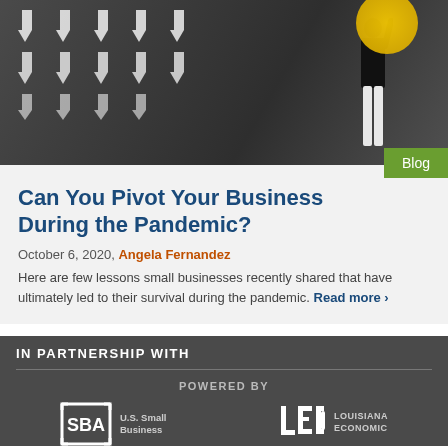[Figure (photo): Photo of a person standing in front of a dark chalkboard wall with multiple white downward-pointing arrows arranged in a grid. A yellow circular logo is partially visible in the top right corner.]
Blog
Can You Pivot Your Business During the Pandemic?
October 6, 2020, Angela Fernandez
Here are few lessons small businesses recently shared that have ultimately led to their survival during the pandemic. Read more >
IN PARTNERSHIP WITH
POWERED BY
[Figure (logo): SBA U.S. Small Business Administration logo — white square bracket design with SBA text]
[Figure (logo): Louisiana Economic Development (LED) logo — white LED letters with Louisiana Economic text]